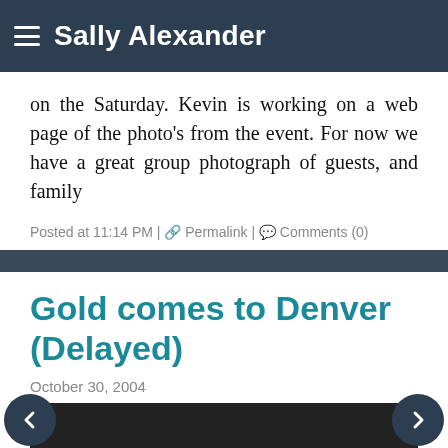Sally Alexander
on the Saturday. Kevin is working on a web page of the photo’s from the event. For now we have a great group photograph of guests, and family
Posted at 11:14 PM | 🔗 Permalink | 💬 Comments (0)
Gold comes to Denver (Delayed)
October 30, 2004